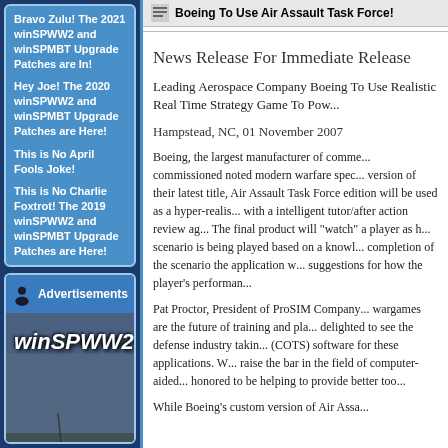Bravo Zulu! The 2021 winSPWW2 and winSPMBT Upgrade Patches are In!
Hey Joe! The 2020 winSPWW2 and winSPMBT Upgrade Patches are Here!
This is No April Fools Joke!
This is No Charlie Foxtrot! The 2019 winSPWW2 and winSPMBT Upgrade Patches are Here!
[Figure (illustration): winSPWW2 advertisement banner with game logo text and tank silhouette on dark military-style background]
Boeing To Use Air Assault Task Force!
News Release For Immediate Release
Leading Aerospace Company Boeing To Use Realistic Real Time Strategy Game To Pow...
Hampstead, NC, 01 November 2007
Boeing, the largest manufacturer of comme... commissioned noted modern warfare spec... version of their latest title, Air Assault Task Force edition will be used as a hyper-realis... with a intelligent tutor/after action review ag... The final product will "watch" a player as h... scenario is being played based on a knowl... completion of the scenario the application w... suggestions for how the player's performan...
Pat Proctor, President of ProSIM Company... wargames are the future of training and pla... delighted to see the defense industry takin... (COTS) software for these applications. W... raise the bar in the field of computer-aided... honored to be helping to provide better too...
While Boeing's custom version of Air Assa...